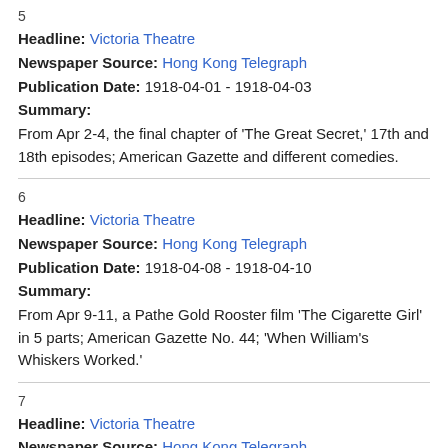5
Headline: Victoria Theatre
Newspaper Source: Hong Kong Telegraph
Publication Date: 1918-04-01 - 1918-04-03
Summary:
From Apr 2-4, the final chapter of 'The Great Secret,' 17th and 18th episodes; American Gazette and different comedies.
6
Headline: Victoria Theatre
Newspaper Source: Hong Kong Telegraph
Publication Date: 1918-04-08 - 1918-04-10
Summary:
From Apr 9-11, a Pathe Gold Rooster film 'The Cigarette Girl' in 5 parts; American Gazette No. 44; 'When William's Whiskers Worked.'
7
Headline: Victoria Theatre
Newspaper Source: Hong Kong Telegraph
Publication Date: 1918-04-22 - 1918-04-24